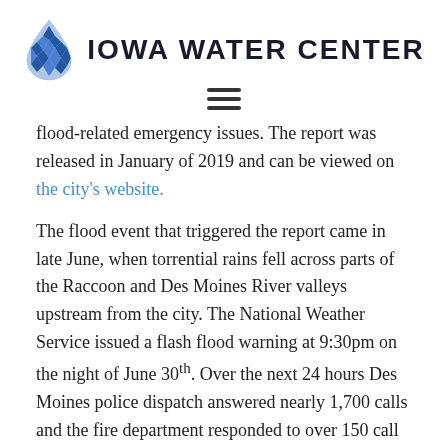[Figure (logo): Iowa Water Center logo: blue water drop icon with diamond/chevron pattern, followed by text 'IOWA WATER CENTER' in bold uppercase sans-serif]
[Figure (other): Hamburger menu icon (three horizontal lines)]
flood-related emergency issues. The report was released in January of 2019 and can be viewed on the city's website.
The flood event that triggered the report came in late June, when torrential rains fell across parts of the Raccoon and Des Moines River valleys upstream from the city. The National Weather Service issued a flash flood warning at 9:30pm on the night of June 30th. Over the next 24 hours Des Moines police dispatch answered nearly 1,700 calls and the fire department responded to over 150 calls for rescue or assistance. This heavy demand for services